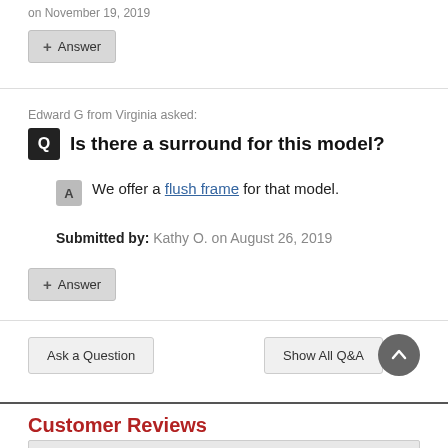on November 19, 2019
+ Answer
Edward G from Virginia asked:
Is there a surround for this model?
We offer a flush frame for that model.
Submitted by: Kathy O. on August 26, 2019
+ Answer
Ask a Question
Show All Q&A
Customer Reviews